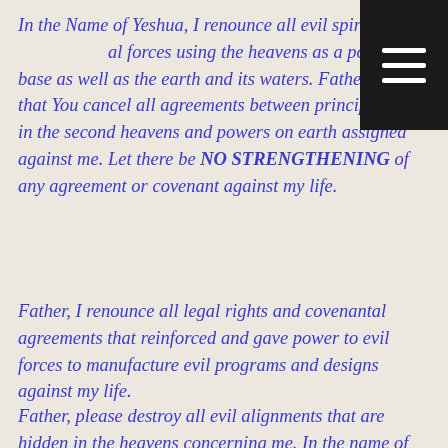In the Name of Yeshua, I renounce all evil spiritual forces using the heavens as a power-base as well as the earth and its waters. Father, I ask that You cancel all agreements between principalities in the second heavens and powers on earth assigned against me. Let there be NO STRENGTHENING of any agreement or covenant against my life.
Father, I renounce all legal rights and covenantal agreements that reinforced and gave power to evil forces to manufacture evil programs and designs against my life.
Father, please destroy all evil alignments that are hidden in the heavens concerning me. In the name of Yeshua, I prophesy to the East wind to blow away the clouds of oppression, heaviness, confusion,